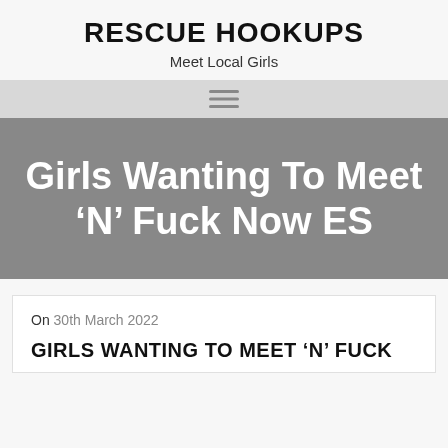RESCUE HOOKUPS
Meet Local Girls
[Figure (other): Hamburger navigation menu icon with three horizontal lines]
Girls Wanting To Meet ‘N’ Fuck Now ES
On 30th March 2022
GIRLS WANTING TO MEET ‘N’ FUCK